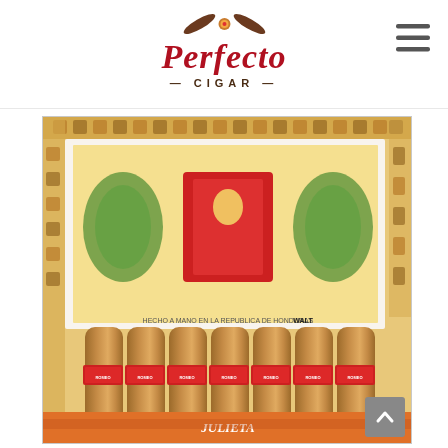[Figure (logo): Perfecto Cigar logo with decorative cigar/bow-tie icon above italic red script 'Perfecto' and brown 'CIGAR' text with dashes]
[Figure (other): Hamburger menu icon (three horizontal lines) in the top-right corner]
[Figure (photo): Open cigar box showing rows of cigars with red bands and the Romeo y Julieta label inside the lid; ornate colorful box artwork visible on sides and front]